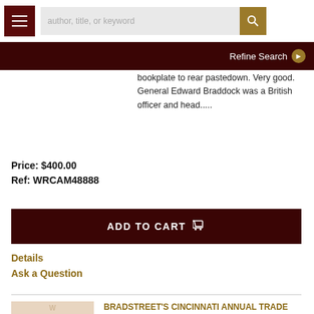author, title, or keyword | Refine Search
bookplate to rear pastedown. Very good. General Edward Braddock was a British officer and head.....
Price: $400.00
Ref: WRCAM48888
ADD TO CART
Details
Ask a Question
BRADSTREET'S CINCINNATI ANNUAL TRADE DIRECTORY OF THE PRINCIPAL MERCANTILE AND MANUFACTURING FIRMS OF